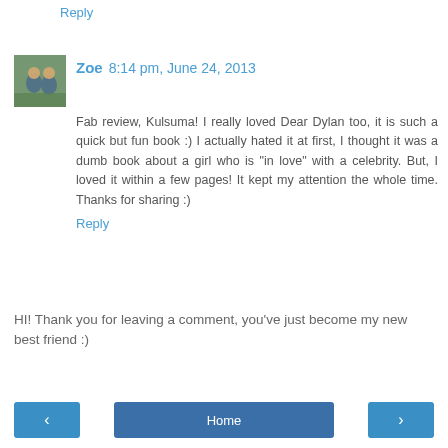Reply
Zoe  8:14 pm, June 24, 2013
Fab review, Kulsuma! I really loved Dear Dylan too, it is such a quick but fun book :) I actually hated it at first, I thought it was a dumb book about a girl who is "in love" with a celebrity. But, I loved it within a few pages! It kept my attention the whole time. Thanks for sharing :)
Reply
HI! Thank you for leaving a comment, you've just become my new best friend :)
‹
Home
›